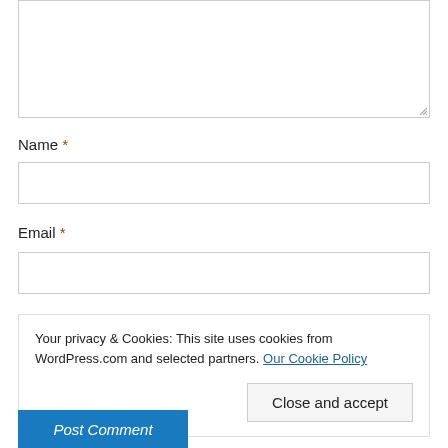[Comment textarea]
Name *
[Name input field]
Email *
[Email input field]
Your privacy & Cookies: This site uses cookies from WordPress.com and selected partners. Our Cookie Policy
Close and accept
Post Comment